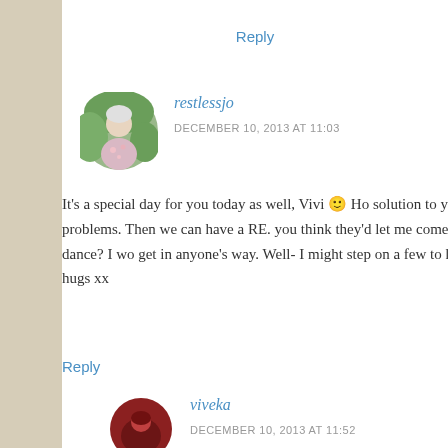Reply
[Figure (photo): Circular avatar photo of restlessjo, an older woman with white hair wearing a floral shirt, outdoors with green background]
restlessjo
DECEMBER 10, 2013 AT 11:03
It's a special day for you today as well, Vivi 🙂 Ho solution to your problems. Then we can have a RE. you think they'd let me come and just dance? I wo get in anyone's way. Well- I might step on a few to hon. Big hugs xx
Reply
[Figure (photo): Circular avatar photo of viveka, dark reddish image]
viveka
DECEMBER 10, 2013 AT 11:52
Yes, Jo .. thank a million. Jumping into the